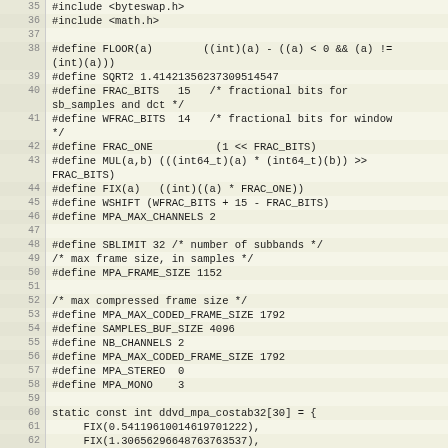Source code listing lines 35-63, C header preprocessor directives and static array initialization for MPA audio codec
35: #include <byteswap.h>
36: #include <math.h>
37: (blank)
38: #define FLOOR(a)        ((int)(a) - ((a) < 0 && (a) != (int)(a)))
39: #define SQRT2 1.41421356237309514547
40: #define FRAC_BITS   15   /* fractional bits for sb_samples and dct */
41: #define WFRAC_BITS  14   /* fractional bits for window */
42: #define FRAC_ONE          (1 << FRAC_BITS)
43: #define MUL(a,b) (((int64_t)(a) * (int64_t)(b)) >> FRAC_BITS)
44: #define FIX(a)   ((int)((a) * FRAC_ONE))
45: #define WSHIFT (WFRAC_BITS + 15 - FRAC_BITS)
46: #define MPA_MAX_CHANNELS 2
47: (blank)
48: #define SBLIMIT 32 /* number of subbands */
49: /* max frame size, in samples */
50: #define MPA_FRAME_SIZE 1152
51: (blank)
52: /* max compressed frame size */
53: #define MPA_MAX_CODED_FRAME_SIZE 1792
54: #define SAMPLES_BUF_SIZE 4096
55: #define NB_CHANNELS 2
56: #define MPA_MAX_CODED_FRAME_SIZE 1792
57: #define MPA_STEREO  0
58: #define MPA_MONO    3
59: (blank)
60: static const int ddvd_mpa_costab32[30] = {
61:     FIX(0.54119610014619701222),
62:     FIX(1.30656296648763763537),
63: (blank)